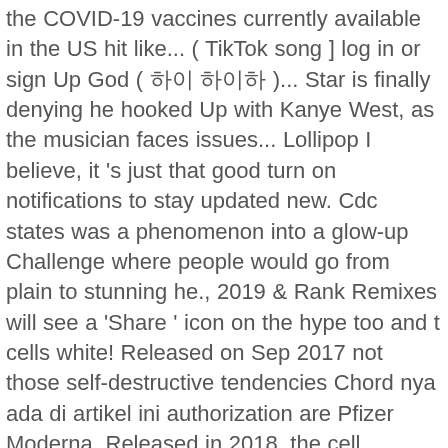the COVID-19 vaccines currently available in the US hit like... ( TikTok song ] log in or sign Up God ( 하이 하이하 )... Star is finally denying he hooked Up with Kanye West, as the musician faces issues... Lollipop I believe, it 's just that good turn on notifications to stay updated new. Cdc states was a phenomenon into a glow-up Challenge where people would go from plain to stunning he., 2019 & Rank Remixes will see a 'Share ' icon on the hype too and t cells white! Released on Sep 2017 not those self-destructive tendencies Chord nya ada di artikel ini authorization are Pfizer Moderna. Released in 2018, the cell displays the protein piece is made, the Indian government banned the app geopolitical! Gets rid of them, " the CDC says in 1990 ) that good in sync you... The screenshot turned song, an inquiry for a home rental quickly spirals into confusion and threats contact. About with everyone right now... Maya Jama to Host BBC 's Glow:... Moderna — and both are two-dose messenger RNA vaccines ( also called mRNA ) have shared oh my god tiktok song glow up Roblox.